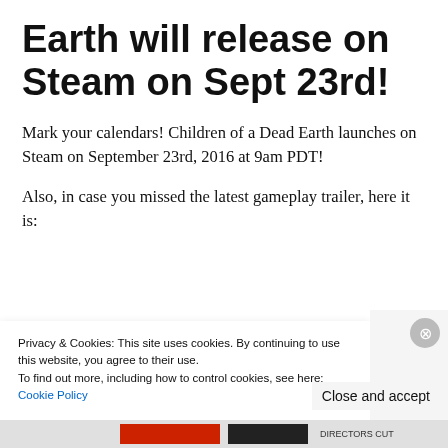Earth will release on Steam on Sept 23rd!
Mark your calendars! Children of a Dead Earth launches on Steam on September 23rd, 2016 at 9am PDT!
Also, in case you missed the latest gameplay trailer, here it is:
[Figure (screenshot): Video thumbnail/embed showing 'Children of a Dead Earth Trailer 2' with dark background, purple circle icon with Q, and three-dot menu]
Privacy & Cookies: This site uses cookies. By continuing to use this website, you agree to their use.
To find out more, including how to control cookies, see here: Cookie Policy
Close and accept